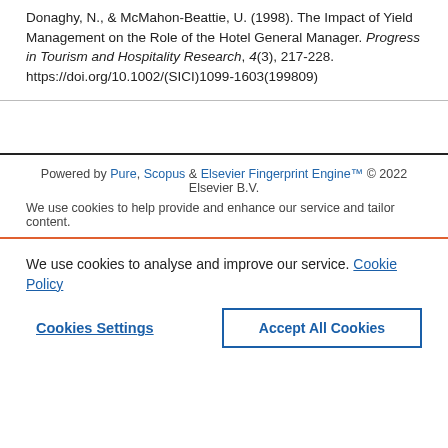Donaghy, N., & McMahon-Beattie, U. (1998). The Impact of Yield Management on the Role of the Hotel General Manager. Progress in Tourism and Hospitality Research, 4(3), 217-228. https://doi.org/10.1002/(SICI)1099-1603(199809)
Powered by Pure, Scopus & Elsevier Fingerprint Engine™ © 2022 Elsevier B.V.
We use cookies to help provide and enhance our service and tailor content.
We use cookies to analyse and improve our service. Cookie Policy
Cookies Settings    Accept All Cookies